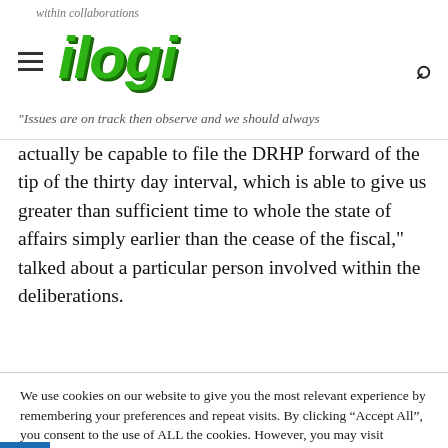ilogi
"Issues are on track then observe and we should always actually be capable to file the DRHP forward of the tip of the thirty day interval, which is able to give us greater than sufficient time to whole the state of affairs simply earlier than the cease of the fiscal," talked about a particular person involved within the deliberations.
We use cookies on our website to give you the most relevant experience by remembering your preferences and repeat visits. By clicking “Accept All”, you consent to the use of ALL the cookies. However, you may visit "Cookie Settings" to provide a controlled consent.